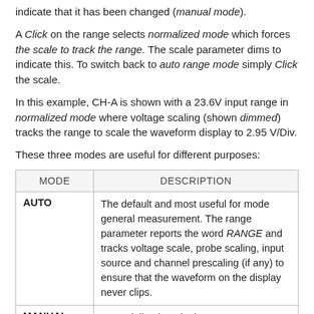indicate that it has been changed (manual mode).
A Click on the range selects normalized mode which forces the scale to track the range. The scale parameter dims to indicate this. To switch back to auto range mode simply Click the scale.
In this example, CH-A is shown with a 23.6V input range in normalized mode where voltage scaling (shown dimmed) tracks the range to scale the waveform display to 2.95 V/Div.
These three modes are useful for different purposes:
| MODE | DESCRIPTION |
| --- | --- |
| AUTO | The default and most useful for mode general measurement. The range parameter reports the word RANGE and tracks voltage scale, probe scaling, input source and channel prescaling (if any) to ensure that the waveform on the display never clips. |
| MANUAL | A specialised mode that ensures a specific input range is used regardless of the other parameter settings. Some BitScopes offer different analog signal bandwidth in different |